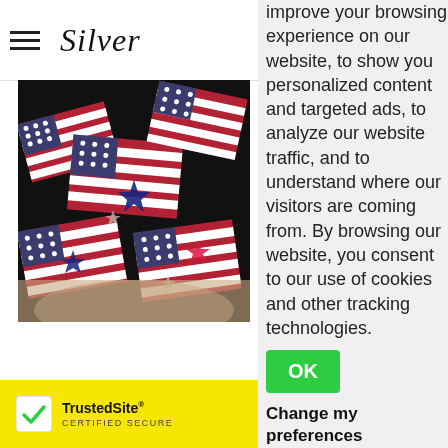Silver
[Figure (photo): A hand holding a piece of fabric with American flag pattern — red, white, and blue stripes with stars on a dark background.]
improve your browsing experience on our website, to show you personalized content and targeted ads, to analyze our website traffic, and to understand where our visitors are coming from. By browsing our website, you consent to our use of cookies and other tracking technologies.
OK
Change my preferences
[Figure (logo): TrustedSite CERTIFIED SECURE badge with green checkmark on yellow background]